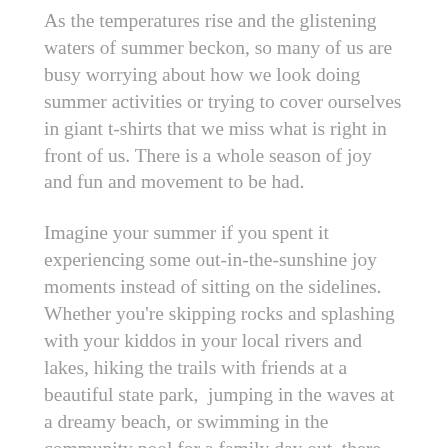As the temperatures rise and the glistening waters of summer beckon, so many of us are busy worrying about how we look doing summer activities or trying to cover ourselves in giant t-shirts that we miss what is right in front of us. There is a whole season of joy and fun and movement to be had.
Imagine your summer if you spent it experiencing some out-in-the-sunshine joy moments instead of sitting on the sidelines. Whether you're skipping rocks and splashing with your kiddos in your local rivers and lakes, hiking the trails with friends at a beautiful state park,  jumping in the waves at a dreamy beach, or swimming in the community pool for a family day out, there are adventures to be had.
So dear friends, I'm here to tell you, just put on the bathing suit. Don't miss out on another summer. Don't